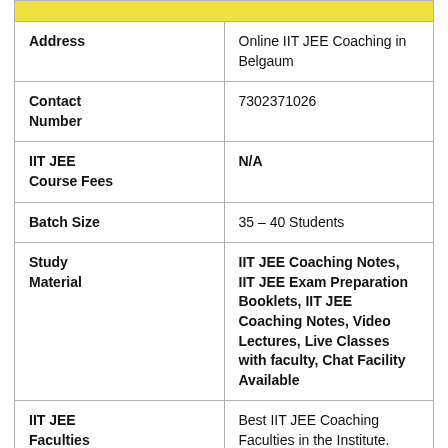|  |  |
| --- | --- |
| Address | Online IIT JEE Coaching in Belgaum |
| Contact Number | 7302371026 |
| IIT JEE Course Fees | N/A |
| Batch Size | 35 – 40 Students |
| Study Material | IIT JEE Coaching Notes, IIT JEE Exam Preparation Booklets, IIT JEE Coaching Notes, Video Lectures, Live Classes with faculty, Chat Facility Available |
| IIT JEE Faculties | Best IIT JEE Coaching Faculties in the Institute. |
| IIT JEE | Best Result in Past years |